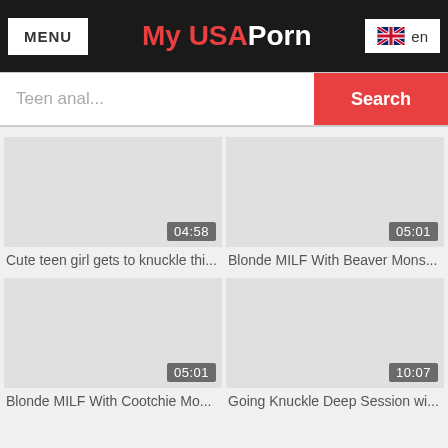MENU | My USAPorn | en
Teen anal... Search
[Figure (screenshot): Video thumbnail placeholder grey box with duration 04:58]
Cute teen girl gets to knuckle thi...
[Figure (screenshot): Video thumbnail placeholder grey box with duration 05:01]
Blonde MILF With Beaver Mons...
[Figure (screenshot): Video thumbnail placeholder grey box with duration 05:01]
Blonde MILF With Cootchie Mo...
[Figure (screenshot): Video thumbnail placeholder grey box with duration 10:07]
Going Knuckle Deep Session wi...